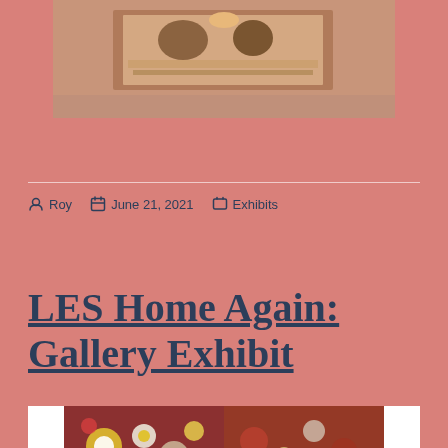[Figure (photo): Photo of people sitting at a table, appears to be an art activity or workshop]
Roy   June 21, 2021   Exhibits
LES Home Again: Gallery Exhibit
[Figure (photo): Colorful mosaic or dot art image with floral/circular patterns in red, white, blue, and yellow]